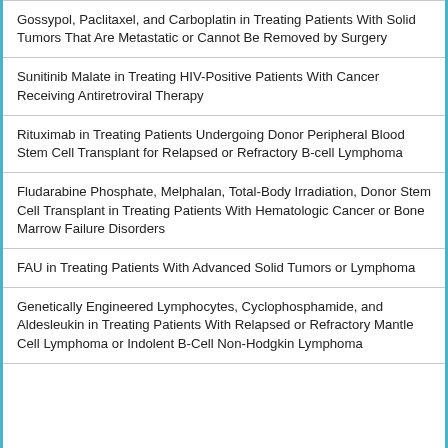Gossypol, Paclitaxel, and Carboplatin in Treating Patients With Solid Tumors That Are Metastatic or Cannot Be Removed by Surgery
Sunitinib Malate in Treating HIV-Positive Patients With Cancer Receiving Antiretroviral Therapy
Rituximab in Treating Patients Undergoing Donor Peripheral Blood Stem Cell Transplant for Relapsed or Refractory B-cell Lymphoma
Fludarabine Phosphate, Melphalan, Total-Body Irradiation, Donor Stem Cell Transplant in Treating Patients With Hematologic Cancer or Bone Marrow Failure Disorders
FAU in Treating Patients With Advanced Solid Tumors or Lymphoma
Genetically Engineered Lymphocytes, Cyclophosphamide, and Aldesleukin in Treating Patients With Relapsed or Refractory Mantle Cell Lymphoma or Indolent B-Cell Non-Hodgkin Lymphoma